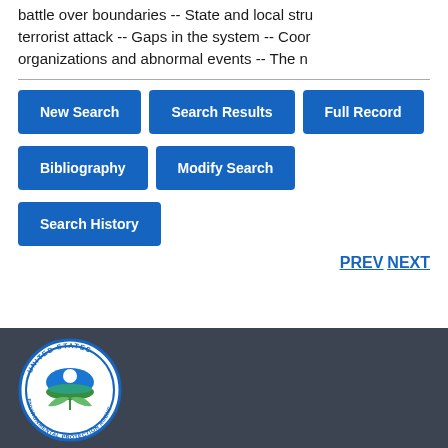battle over boundaries -- State and local stru terrorist attack -- Gaps in the system -- Coord organizations and abnormal events -- The n
New Search | Search Results | Full Record
Bibliography | Modify Search
Search History
PREV NEXT
[Figure (logo): United States Environmental Protection Agency (EPA) circular seal/logo]